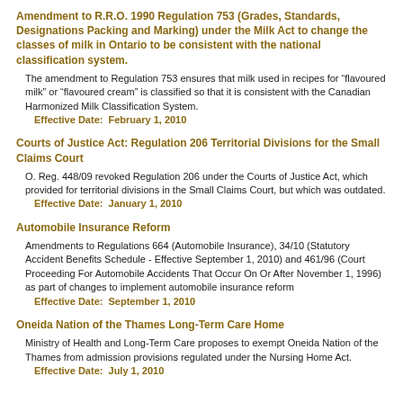Amendment to R.R.O. 1990 Regulation 753 (Grades, Standards, Designations Packing and Marking) under the Milk Act to change the classes of milk in Ontario to be consistent with the national classification system.
The amendment to Regulation 753 ensures that milk used in recipes for “flavoured milk” or “flavoured cream” is classified so that it is consistent with the Canadian Harmonized Milk Classification System.
Effective Date:  February 1, 2010
Courts of Justice Act: Regulation 206 Territorial Divisions for the Small Claims Court
O. Reg. 448/09 revoked Regulation 206 under the Courts of Justice Act, which provided for territorial divisions in the Small Claims Court, but which was outdated.
Effective Date:  January 1, 2010
Automobile Insurance Reform
Amendments to Regulations 664 (Automobile Insurance), 34/10 (Statutory Accident Benefits Schedule - Effective September 1, 2010) and 461/96 (Court Proceeding For Automobile Accidents That Occur On Or After November 1, 1996) as part of changes to implement automobile insurance reform
Effective Date:  September 1, 2010
Oneida Nation of the Thames Long-Term Care Home
Ministry of Health and Long-Term Care proposes to exempt Oneida Nation of the Thames from admission provisions regulated under the Nursing Home Act.
Effective Date:  July 1, 2010